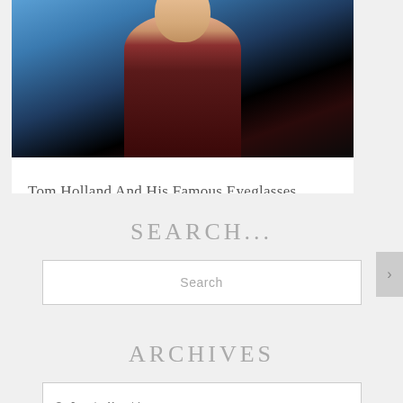[Figure (photo): Photo of Tom Holland in a dark maroon/burgundy blazer and turtleneck, photographed against a blue and orange background]
Tom Holland And His Famous Eyeglasses
Tom Holland and his famous eyeglasses. The...
READ MORE
SEARCH...
Search
ARCHIVES
Select Month